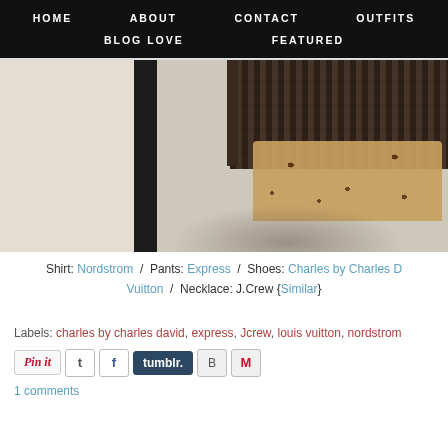HOME   ABOUT   CONTACT   OUTFITS   BLOG LOVE   FEATURED
[Figure (photo): Close-up photo showing leopard print shoes and a Louis Vuitton damier checkered bag on a light carpet, taken in front of a mirror with a black frame visible.]
Shirt: Nordstrom / Pants: Express / Shoes: Charles by Charles D... Vuitton / Necklace: J.Crew {Similar}
Labels: charles by charles david, express, Jcrew, louis vuitton, nordstrom
Pin it  [twitter] [facebook] [tumblr.] [blogger] [gmail]
1 comments